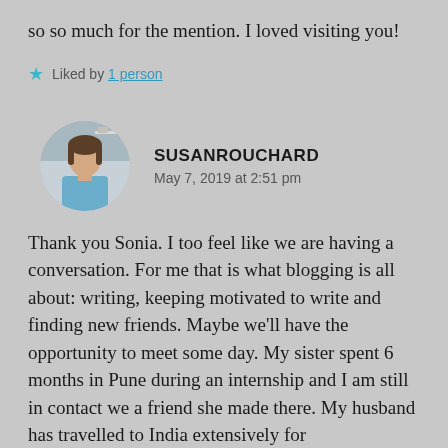so so much for the mention. I loved visiting you!
★ Liked by 1 person
SUSANROUCHARD
May 7, 2019 at 2:51 pm
Thank you Sonia. I too feel like we are having a conversation. For me that is what blogging is all about: writing, keeping motivated to write and finding new friends. Maybe we'll have the opportunity to meet some day. My sister spent 6 months in Pune during an internship and I am still in contact we a friend she made there. My husband has travelled to India extensively for